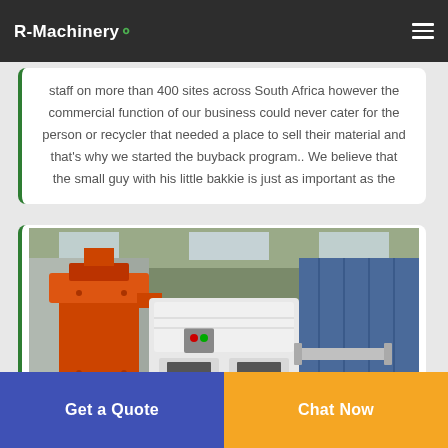R-Machinery
staff on more than 400 sites across South Africa however the commercial function of our business could never cater for the person or recycler that needed a place to sell their material and that's why we started the buyback program.. We believe that the small guy with his little bakkie is just as important as the
[Figure (photo): Industrial recycling machinery including an orange and white granulator/shredder machine inside a warehouse facility]
Get a Quote
Chat Now